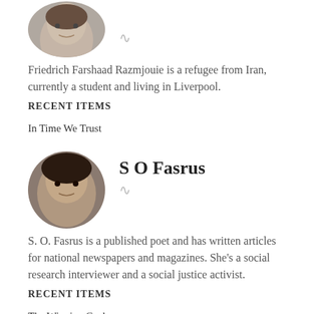[Figure (photo): Circular avatar photo of a young man with dark hair]
Friedrich Farshaad Razmjouie is a refugee from Iran, currently a student and living in Liverpool.
RECENT ITEMS
In Time We Trust
S O Fasrus
[Figure (photo): Circular avatar photo of a woman with dark hair]
S. O. Fasrus is a published poet and has written articles for national newspapers and magazines. She's a social research interviewer and a social justice activist.
RECENT ITEMS
The Winning Cock
Kevin Higgins
[Figure (photo): Circular avatar photo of Kevin Higgins]